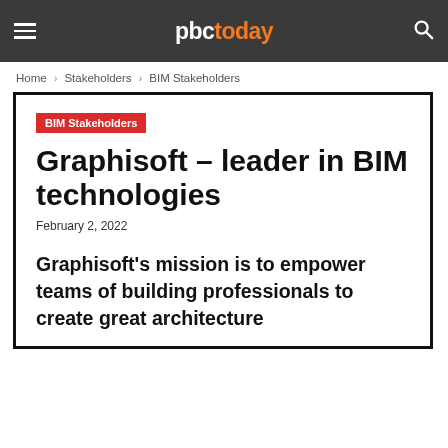pbc today
Home › Stakeholders › BIM Stakeholders
BIM Stakeholders
Graphisoft – leader in BIM technologies
February 2, 2022
Graphisoft's mission is to empower teams of building professionals to create great architecture